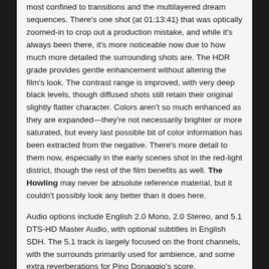most confined to transitions and the multilayered dream sequences. There's one shot (at 01:13:41) that was optically zoomed-in to crop out a production mistake, and while it's always been there, it's more noticeable now due to how much more detailed the surrounding shots are. The HDR grade provides gentle enhancement without altering the film's look. The contrast range is improved, with very deep black levels, though diffused shots still retain their original slightly flatter character. Colors aren't so much enhanced as they are expanded—they're not necessarily brighter or more saturated, but every last possible bit of color information has been extracted from the negative. There's more detail to them now, especially in the early scenes shot in the red-light district, though the rest of the film benefits as well. The Howling may never be absolute reference material, but it couldn't possibly look any better than it does here.
Audio options include English 2.0 Mono, 2.0 Stereo, and 5.1 DTS-HD Master Audio, with optional subtitles in English SDH. The 5.1 track is largely focused on the front channels, with the surrounds primarily used for ambience, and some extra reverberations for Pino Donaggio's score.